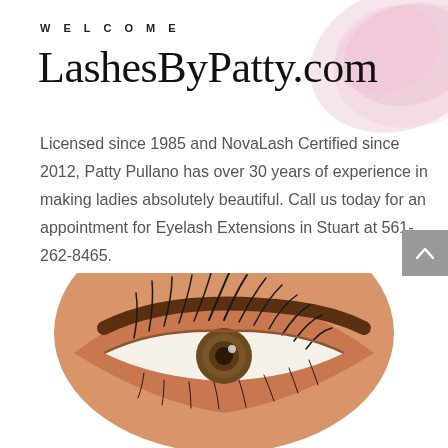WELCOME
LashesByPatty.com
[Figure (photo): Pink rose petal in upper right corner of the page]
Licensed since 1985 and NovaLash Certified since 2012, Patty Pullano has over 30 years of experience in making ladies absolutely beautiful. Call us today for an appointment for Eyelash Extensions in Stuart at 561-262-8465.
[Figure (photo): Close-up photo of a woman's eye with dramatic eyelash extensions, showing brown/hazel iris and long curled lashes, partially visible at bottom of page]